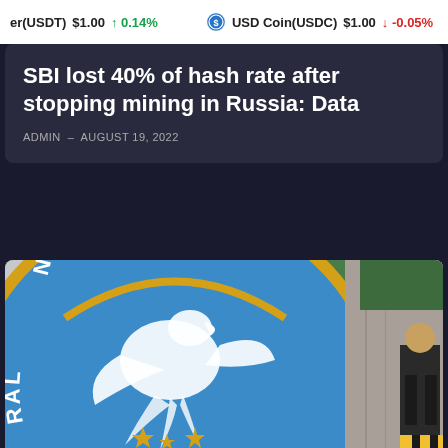er(USDT) $1.00 ↑ 0.14%   USD Coin(USDC) $1.00 ↓ -0.05%
SBI lost 40% of hash rate after stopping mining in Russia: Data
ADMIN – AUGUST 19, 2022
[Figure (photo): Bangko Sentral ng Pilipinas (BSP) logo sign on a blue circular emblem with white text and a white horse figure, gold stars and yellow arc, mounted on a stone wall. A security guard is partially visible on the right side.]